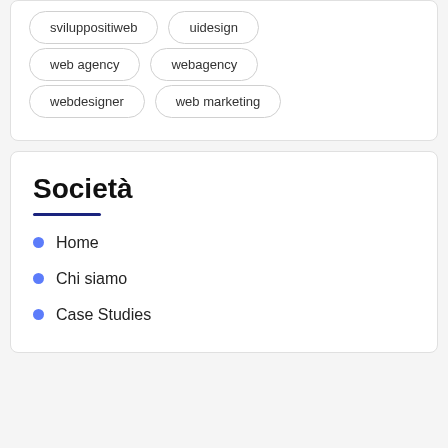sviluppositiweb
uidesign
web agency
webagency
webdesigner
web marketing
Società
Home
Chi siamo
Case Studies